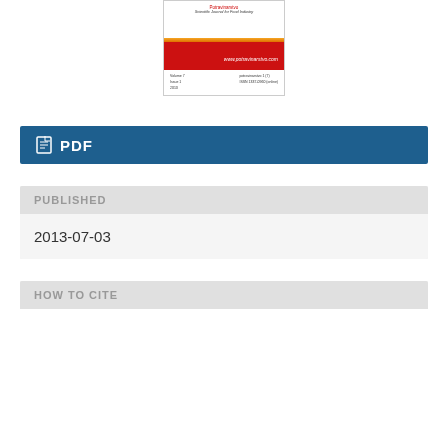[Figure (illustration): Journal cover of Potravinarstvo - Scientific Journal for Food Industry, Volume 7, Issue 1, 2013. Shows journal title in red, subtitle in italic, orange bar, red bar with website URL www.potravinarstvo.com, and publication details.]
PDF
PUBLISHED
2013-07-03
HOW TO CITE